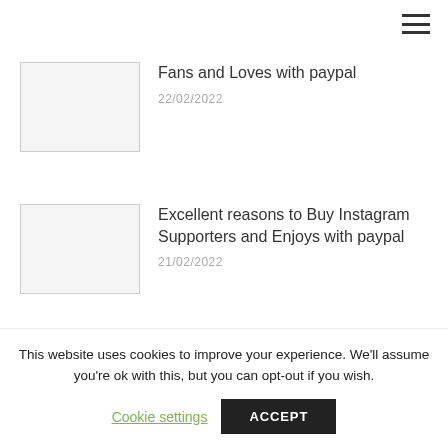☰
[Figure (illustration): Thumbnail placeholder image (light gray rectangle with border)]
Fans and Loves with paypal
22/02/2022
[Figure (illustration): Thumbnail placeholder image (light gray rectangle with border)]
Excellent reasons to Buy Instagram Supporters and Enjoys with paypal
21/02/2022
This website uses cookies to improve your experience. We'll assume you're ok with this, but you can opt-out if you wish.
Cookie settings   ACCEPT